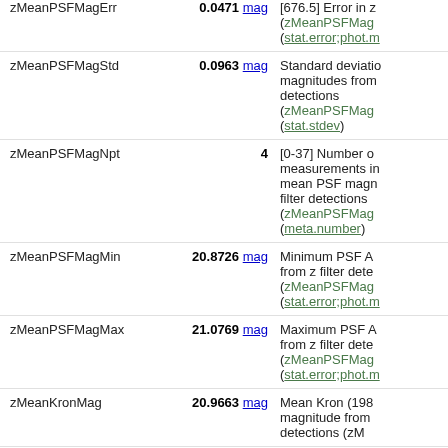| Name | Value | Description |
| --- | --- | --- |
| zMeanPSFMagErr | 0.0471 mag | [676.5] Error in zMeanPSFMag (zMeanPSFMagErr) (stat.error;phot.m... |
| zMeanPSFMagStd | 0.0963 mag | Standard deviation of magnitudes from detections (zMeanPSFMagStd) (stat.stdev) |
| zMeanPSFMagNpt | 4 | [0-37] Number of measurements in mean PSF magnitude from z filter detections (zMeanPSFMagNpt) (meta.number) |
| zMeanPSFMagMin | 20.8726 mag | Minimum PSF AB magnitude from z filter detections (zMeanPSFMagMin) (stat.error;phot.m...) |
| zMeanPSFMagMax | 21.0769 mag | Maximum PSF AB magnitude from z filter detections (zMeanPSFMagMax) (stat.error;phot.m...) |
| zMeanKronMag | 20.9663 mag | Mean Kron (1980) magnitude from detections (zM...) |